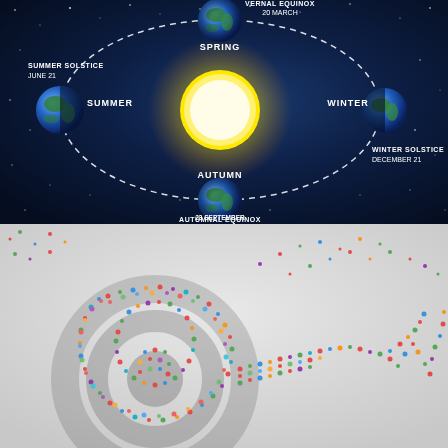[Figure (infographic): Earth's orbit around the Sun showing four seasons. The Sun is depicted at the center with a bright yellow glow. Four Earth globes are positioned around it in an elliptical orbit (dashed white). Top: Spring / Vernal Equinox 20 March. Left: Summer / Summer Solstice June 21. Bottom: Autumn / Autumnal Equinox 23 September. Right: Winter / Winter Solstice December 21. Dark blue starry space background.]
[Figure (illustration): Aerial view of a large crowd of colorful people forming the shape of a target/bullseye with an arrow hitting it, viewed from above on a light gray background. People are dressed in various colors (red, green, blue, yellow). The arrow shape extends to the right from the bullseye.]